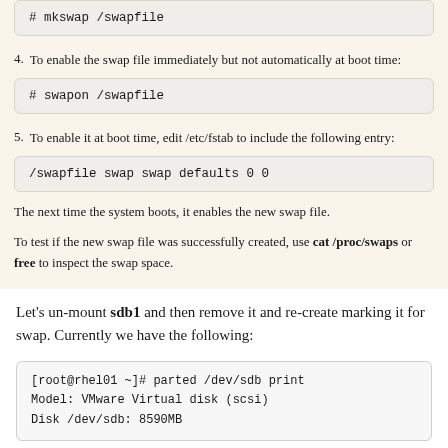# mkswap /swapfile
4. To enable the swap file immediately but not automatically at boot time:
# swapon /swapfile
5. To enable it at boot time, edit /etc/fstab to include the following entry:
/swapfile swap swap defaults 0 0
The next time the system boots, it enables the new swap file.
To test if the new swap file was successfully created, use cat /proc/swaps or free to inspect the swap space.
Let's un-mount sdb1 and then remove it and re-create marking it for swap. Currently we have the following:
[root@rhel01 ~]# parted /dev/sdb print
Model: VMware Virtual disk (scsi)
Disk /dev/sdb: 8590MB